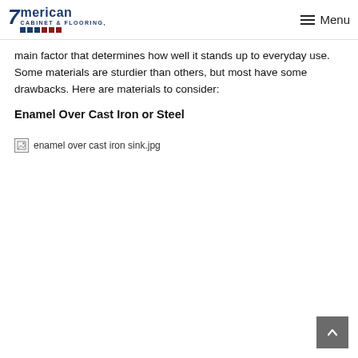American Cabinet & Flooring — Menu
main factor that determines how well it stands up to everyday use. Some materials are sturdier than others, but most have some drawbacks. Here are materials to consider:
Enamel Over Cast Iron or Steel
[Figure (photo): Broken image placeholder labeled 'enamel over cast iron sink.jpg']